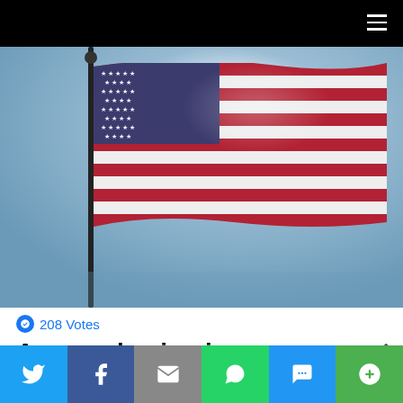[Figure (photo): American flag waving on a flagpole against a bright blue sky, backlit by sun]
208 Votes
Are you having issues paying your taxes under Biden?
[Figure (infographic): Social sharing bar with Twitter, Facebook, Email, WhatsApp, SMS, and More buttons]